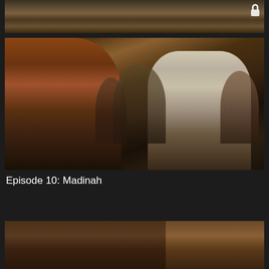[Figure (photo): Partially visible film still from Episode 9: The Year of Sorrow, showing robed figures in a historical scene, with a lock icon in the top right corner]
Episode 9: The Year of Sorrow
[Figure (photo): Film still from Episode 10: Madinah, showing two men in turbans — one in brown on the left and one in white on the right — surrounded by a crowd in a historical Middle Eastern setting]
Episode 10: Madinah
[Figure (photo): Partially visible film still from Episode 11, showing robed figures in a historical outdoor scene]